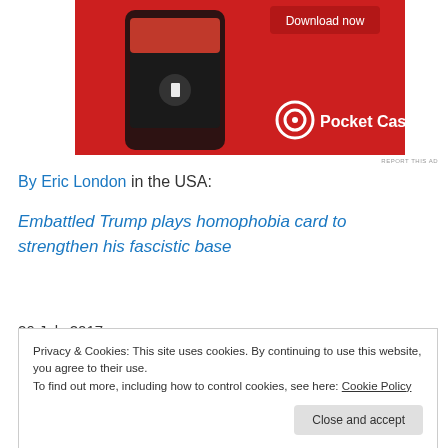[Figure (screenshot): Pocket Casts app advertisement on red background with a smartphone showing the app interface and a 'Download now' button]
REPORT THIS AD
By Eric London in the USA:
Embattled Trump plays homophobia card to strengthen his fascistic base
26 July 2017
Privacy & Cookies: This site uses cookies. By continuing to use this website, you agree to their use.
To find out more, including how to control cookies, see here: Cookie Policy
Close and accept
seems to continue appeals to homophobia hysteria,